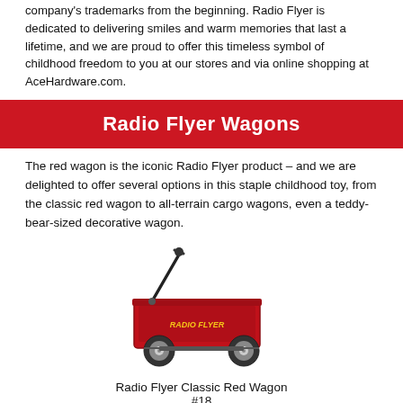company's trademarks from the beginning. Radio Flyer is dedicated to delivering smiles and warm memories that last a lifetime, and we are proud to offer this timeless symbol of childhood freedom to you at our stores and via online shopping at AceHardware.com.
Radio Flyer Wagons
The red wagon is the iconic Radio Flyer product – and we are delighted to offer several options in this staple childhood toy, from the classic red wagon to all-terrain cargo wagons, even a teddy-bear-sized decorative wagon.
[Figure (photo): Photo of a Radio Flyer Classic Red Wagon with black handle and white wheels]
Radio Flyer Classic Red Wagon
#18
($109.99- 82291)
Call us for details